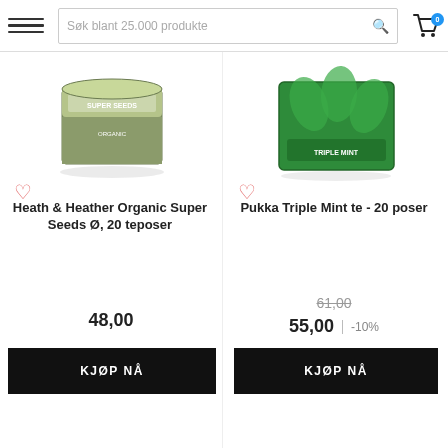Søk blant 25.000 produkte
[Figure (photo): Product image of Heath & Heather Organic Super Seeds tea box]
Heath & Heather Organic Super Seeds Ø, 20 teposer
48,00
[Figure (photo): Product image of Pukka Triple Mint te green box]
Pukka Triple Mint te - 20 poser
61,00 (struck through), 55,00, -10%